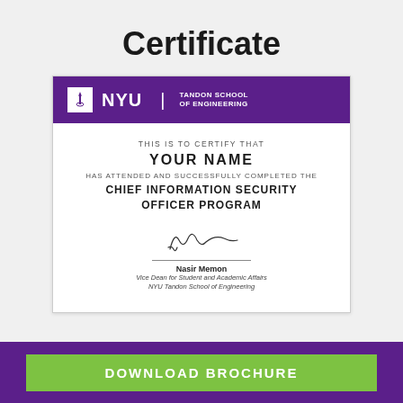Certificate
[Figure (illustration): NYU Tandon School of Engineering certificate showing: THIS IS TO CERTIFY THAT YOUR NAME HAS ATTENDED AND SUCCESSFULLY COMPLETED THE CHIEF INFORMATION SECURITY OFFICER PROGRAM, signed by Nasir Memon, Vice Dean for Student and Academic Affairs, NYU Tandon School of Engineering]
DOWNLOAD BROCHURE